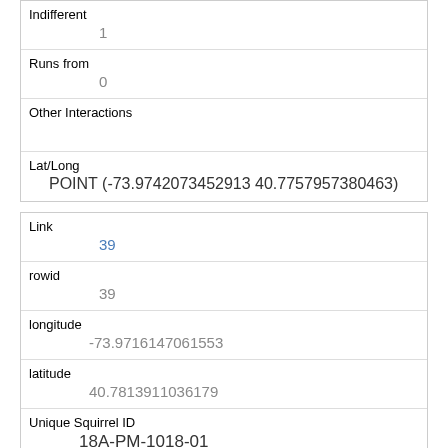| Indifferent | 1 |
| Runs from | 0 |
| Other Interactions |  |
| Lat/Long | POINT (-73.9742073452913 40.7757957380463) |
| Link | 39 |
| rowid | 39 |
| longitude | -73.9716147061553 |
| latitude | 40.7813911036179 |
| Unique Squirrel ID | 18A-PM-1018-01 |
| Hectare | 18A |